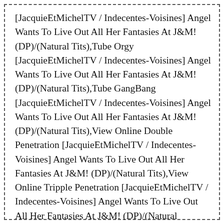[JacquieEtMichelTV / Indecentes-Voisines] Angel Wants To Live Out All Her Fantasies At J&M! (DP)/(Natural Tits),Tube Orgy [JacquieEtMichelTV / Indecentes-Voisines] Angel Wants To Live Out All Her Fantasies At J&M! (DP)/(Natural Tits),Tube GangBang [JacquieEtMichelTV / Indecentes-Voisines] Angel Wants To Live Out All Her Fantasies At J&M! (DP)/(Natural Tits),View Online Double Penetration [JacquieEtMichelTV / Indecentes-Voisines] Angel Wants To Live Out All Her Fantasies At J&M! (DP)/(Natural Tits),View Online Tripple Penetration [JacquieEtMichelTV / Indecentes-Voisines] Angel Wants To Live Out All Her Fantasies At J&M! (DP)/(Natural Tits),View Online DPP